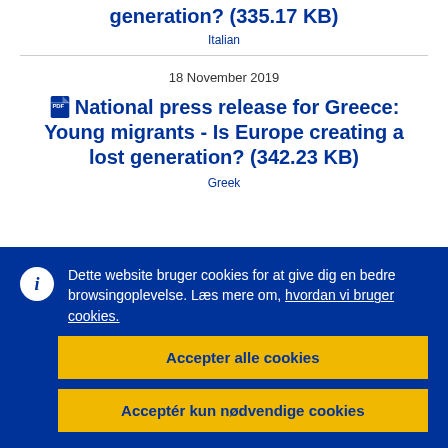generation? (335.17 KB)
Italian
18 November 2019
National press release for Greece: Young migrants - Is Europe creating a lost generation? (342.23 KB)
Greek
Dette website bruger cookies for at give dig en bedre browsingoplevelse. Læs mere om, hvordan vi bruger cookies.
Accepter alle cookies
Acceptér kun nødvendige cookies